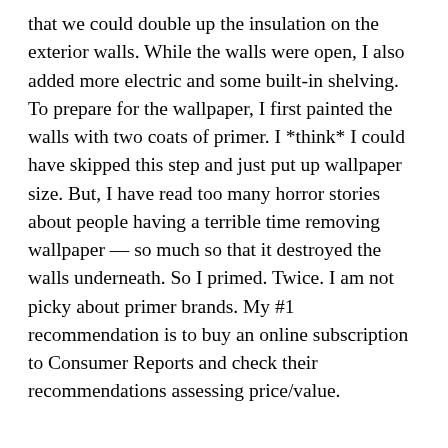that we could double up the insulation on the exterior walls. While the walls were open, I also added more electric and some built-in shelving. To prepare for the wallpaper, I first painted the walls with two coats of primer. I *think* I could have skipped this step and just put up wallpaper size. But, I have read too many horror stories about people having a terrible time removing wallpaper — so much so that it destroyed the walls underneath. So I primed. Twice. I am not picky about primer brands. My #1 recommendation is to buy an online subscription to Consumer Reports and check their recommendations assessing price/value.